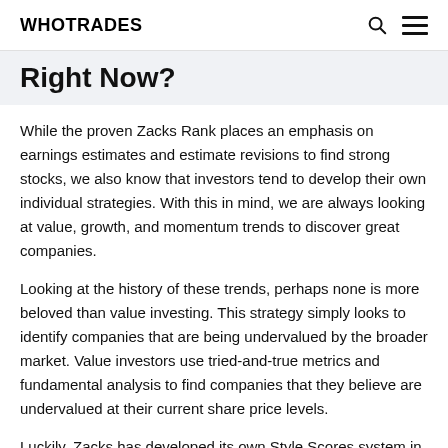WHOTRADES
Right Now?
While the proven Zacks Rank places an emphasis on earnings estimates and estimate revisions to find strong stocks, we also know that investors tend to develop their own individual strategies. With this in mind, we are always looking at value, growth, and momentum trends to discover great companies.
Looking at the history of these trends, perhaps none is more beloved than value investing. This strategy simply looks to identify companies that are being undervalued by the broader market. Value investors use tried-and-true metrics and fundamental analysis to find companies that they believe are undervalued at their current share price levels.
Luckily, Zacks has developed its own Style Scores system in an effort to find stocks with specific traits. Value investors